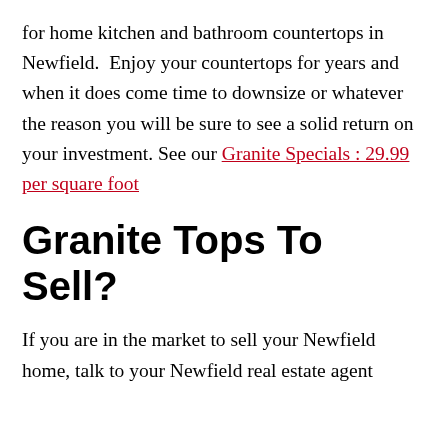for home kitchen and bathroom countertops in Newfield.  Enjoy your countertops for years and when it does come time to downsize or whatever the reason you will be sure to see a solid return on your investment. See our Granite Specials : 29.99 per square foot
Granite Tops To Sell?
If you are in the market to sell your Newfield home, talk to your Newfield real estate agent